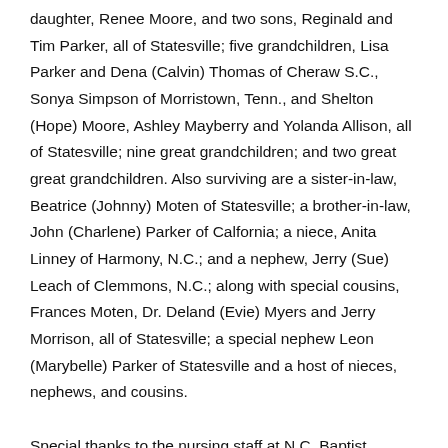daughter, Renee Moore, and two sons, Reginald and Tim Parker, all of Statesville; five grandchildren, Lisa Parker and Dena (Calvin) Thomas of Cheraw S.C., Sonya Simpson of Morristown, Tenn., and Shelton (Hope) Moore, Ashley Mayberry and Yolanda Allison, all of Statesville; nine great grandchildren; and two great great grandchildren. Also surviving are a sister-in-law, Beatrice (Johnny) Moten of Statesville; a brother-in-law, John (Charlene) Parker of Calfornia; a niece, Anita Linney of Harmony, N.C.; and a nephew, Jerry (Sue) Leach of Clemmons, N.C.; along with special cousins, Frances Moten, Dr. Deland (Evie) Myers and Jerry Morrison, all of Statesville; a special nephew Leon (Marybelle) Parker of Statesville and a host of nieces, nephews, and cousins.
Special thanks to the nursing staff at N.C. Baptist Hospital, Statesville Dialysis and Gordon Hospice House